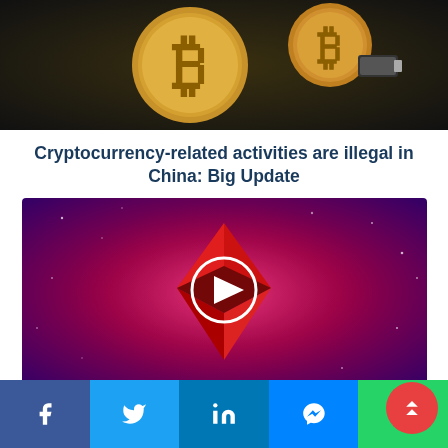[Figure (photo): Bitcoin gold coins on dark background]
Cryptocurrency-related activities are illegal in China: Big Update
[Figure (photo): Ethereum 2.0 video thumbnail — red diamond Ethereum logo on purple-pink starry background with a white play button circle]
TM Exclusive - Ethereum 2.0: New Rockstar of Crypto world
Facebook Twitter LinkedIn Messenger WhatsApp share bar with scroll-to-top button